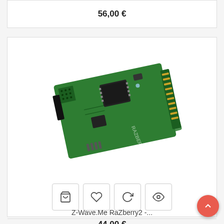56,00 €
[Figure (photo): Green Z-Wave RaZberry2 PCB circuit board module for Raspberry Pi, shown at an angle with multiple chips and connectors visible. The board has 'RAZBERRY' printed on it.]
Z-Wave.Me RaZberry2 -...
44,00 €